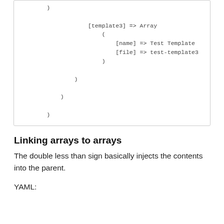[Figure (other): Code block showing PHP array structure with template3 key containing name 'Test Template' and file 'test-template3', with closing parentheses at various indentation levels]
Linking arrays to arrays
The double less than sign basically injects the contents into the parent.
YAML: